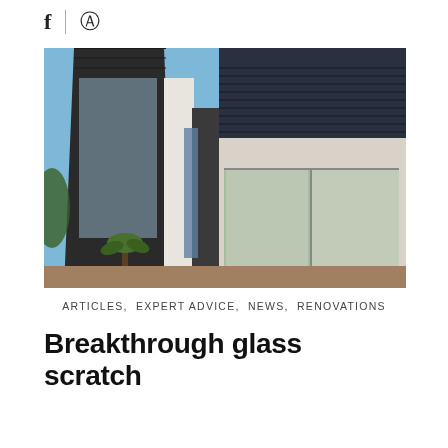[Figure (other): Social media share icons: Facebook (f) and Pinterest (pin symbol)]
[Figure (photo): Modern residential architecture with dark cladding, angular gabled rooflines, large glass windows, and a small palm tree in the foreground against a blue sky]
ARTICLES, EXPERT ADVICE, NEWS, RENOVATIONS
Breakthrough glass scratch